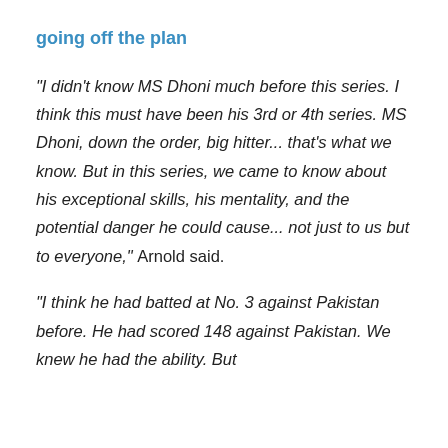going off the plan
"I didn't know MS Dhoni much before this series. I think this must have been his 3rd or 4th series. MS Dhoni, down the order, big hitter... that's what we know. But in this series, we came to know about his exceptional skills, his mentality, and the potential danger he could cause... not just to us but to everyone," Arnold said.
"I think he had batted at No. 3 against Pakistan before. He had scored 148 against Pakistan. We knew he had the ability. But